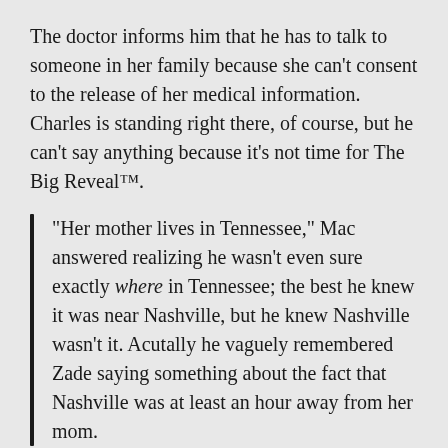The doctor informs him that he has to talk to someone in her family because she can't consent to the release of her medical information. Charles is standing right there, of course, but he can't say anything because it's not time for The Big Reveal™.
“Her mother lives in Tennessee,” Mac answered realizing he wasn't even sure exactly where in Tennessee; the best he knew it was near Nashville, but he knew Nashville wasn't it. Acutally he vaguely remembered Zade saying something about the fact that Nashville was at least an hour away from her mom.
Since we’re in Zumple Liltskin’s brain, wouldn’t it be “at least an hour away from my mom,” and “he vaguely remembered me saying?” And does the